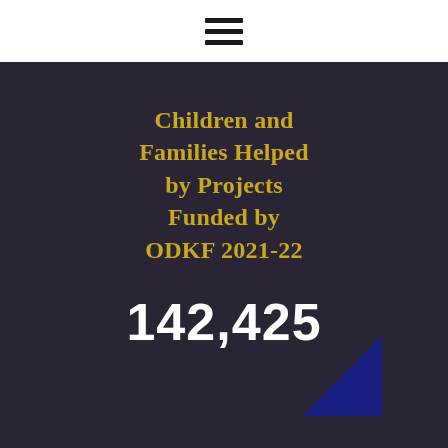☰
Children and Families Helped by Projects Funded by ODKF 2021-22
142,425
[Figure (illustration): Dark blue right triangle decorative element in bottom right area]